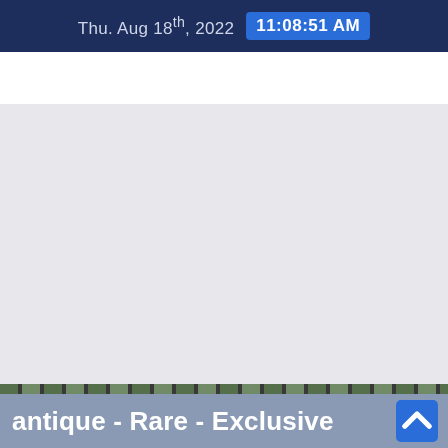Thu. Aug 18th, 2022  11:08:51 AM
[Figure (screenshot): Large light gray blank/empty content area]
antique - Rare - Exclusive